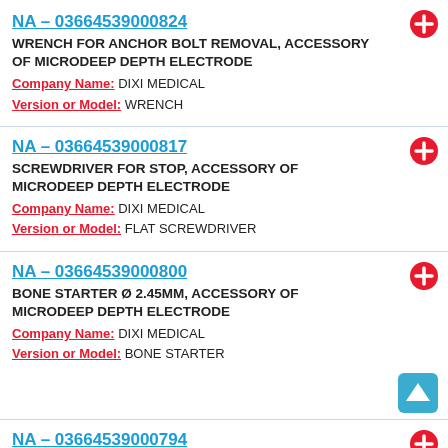NA – 03664539000824
WRENCH FOR ANCHOR BOLT REMOVAL, ACCESSORY OF MICRODEEP DEPTH ELECTRODE
Company Name: DIXI MEDICAL
Version or Model: WRENCH
NA – 03664539000817
SCREWDRIVER FOR STOP, ACCESSORY OF MICRODEEP DEPTH ELECTRODE
Company Name: DIXI MEDICAL
Version or Model: FLAT SCREWDRIVER
NA – 03664539000800
BONE STARTER Ø 2.45MM, ACCESSORY OF MICRODEEP DEPTH ELECTRODE
Company Name: DIXI MEDICAL
Version or Model: BONE STARTER
NA – 03664539000794 (partial)